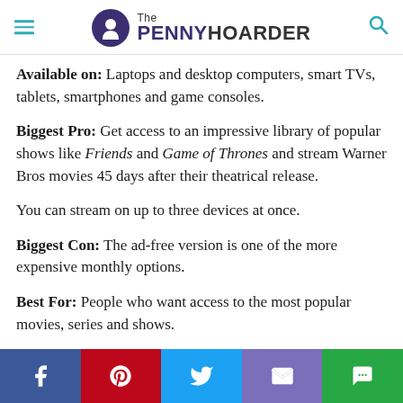The PENNY HOARDER
Available on: Laptops and desktop computers, smart TVs, tablets, smartphones and game consoles.
Biggest Pro: Get access to an impressive library of popular shows like Friends and Game of Thrones and stream Warner Bros movies 45 days after their theatrical release.
You can stream on up to three devices at once.
Biggest Con: The ad-free version is one of the more expensive monthly options.
Best For: People who want access to the most popular movies, series and shows.
What Are Some Other
[Figure (other): Social share bar with Facebook, Pinterest, Twitter, email, and messaging icons]